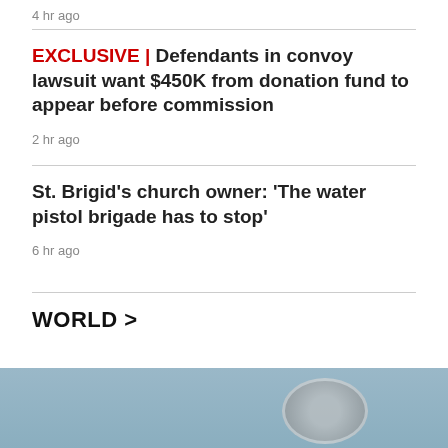4 hr ago
EXCLUSIVE | Defendants in convoy lawsuit want $450K from donation fund to appear before commission
2 hr ago
St. Brigid's church owner: 'The water pistol brigade has to stop'
6 hr ago
WORLD >
[Figure (photo): Exterior photo of a building with columns and a circular logo/emblem visible on the right side]